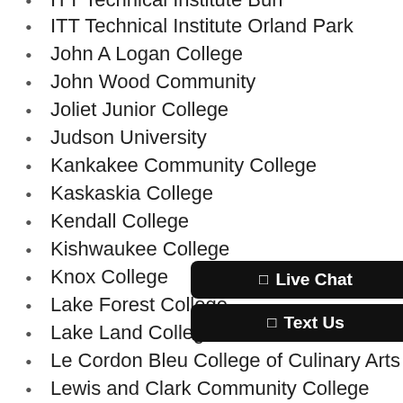ITT Technical Institute Burr (partial, cut off at top)
ITT Technical Institute Orland Park
John A Logan College
John Wood Community
Joliet Junior College
Judson University
Kankakee Community College
Kaskaskia College
Kendall College
Kishwaukee College
Knox College
Lake Forest College
Lake Land College
Le Cordon Bleu College of Culinary Arts Chicago
Lewis and Clark Community College
Lewis University
Lexington College
Lincoln Christian University
Lincoln College
Lincoln Land Community Colle (partial, cut off at bottom)